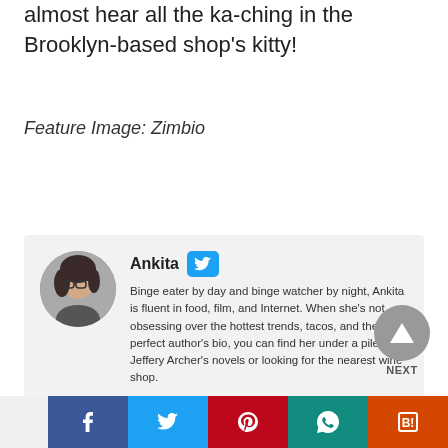almost hear all the ka-ching in the Brooklyn-based shop's kitty!
Feature Image: Zimbio
Ankita
Binge eater by day and binge watcher by night, Ankita is fluent in food, film, and Internet. When she's not obsessing over the hottest trends, tacos, and the perfect author's bio, you can find her under a pile of Jeffery Archer's novels or looking for the nearest wine shop.
[Figure (infographic): Social sharing bar with Facebook, Twitter, Pinterest, WhatsApp, and Hatena Bookmark icons]